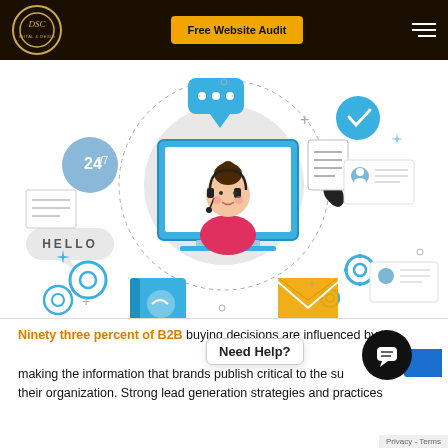DSC | Free Website Audit
[Figure (illustration): Customer support illustration showing a female agent with headset on a laptop screen, surrounded by icons: chat bubble, clock, 24/7 badge, HELLO speech bubble, phone receiver, gear icons, envelope, contact cards, and dotted circle connecting all elements.]
Ninety three percent of B2B buying decisions are influenced by online content, making the information that brands publish critical to the success of their organization. Strong lead generation strategies and practices
Need Help?